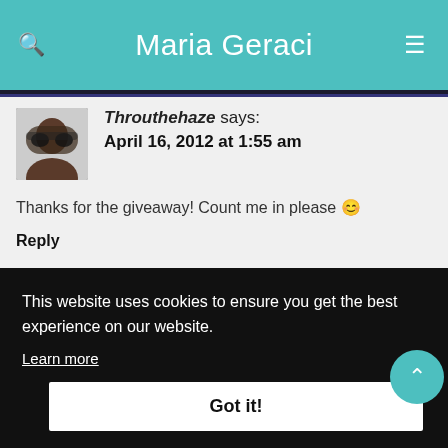Maria Geraci
Throuthehaze says: April 16, 2012 at 1:55 am
Thanks for the giveaway! Count me in please 🙂
Reply
This website uses cookies to ensure you get the best experience on our website. Learn more
Got it!
Amy says: